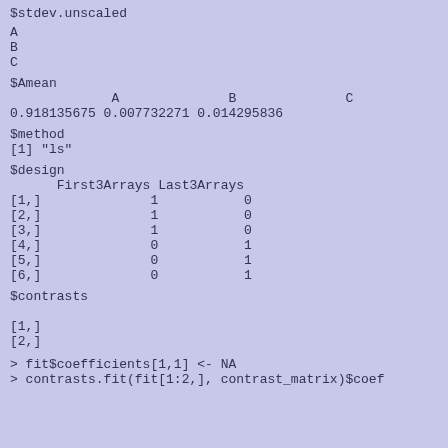$stdev.unscaled
A
B
C
$Amean
             A              B              C
0.918135675 0.007732271 0.014295836
$method
[1] "ls"
$design
      First3Arrays Last3Arrays
[1,]              1           0
[2,]              1           0
[3,]              1           0
[4,]              0           1
[5,]              0           1
[6,]              0           1
$contrasts

[1,]
[2,]
> fit$coefficients[1,1] <- NA
> contrasts.fit(fit[1:2,], contrast_matrix)$coef